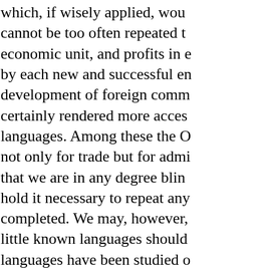which, if wisely applied, wou— cannot be too often repeated th— economic unit, and profits in e— by each new and successful en— development of foreign comm— certainly rendered more access— languages. Among these the O— not only for trade but for admi— that we are in any degree blin— hold it necessary to repeat any— completed. We may, however, little known languages should languages have been studied o— philological or phonetic resear— such tongues may greatly assi— this country, we
*We are told that an active propagan— contrasting what they have done for t— with what our own countrymen and c—
[page 19]
believe, only one Laboratory f— University College, London L—